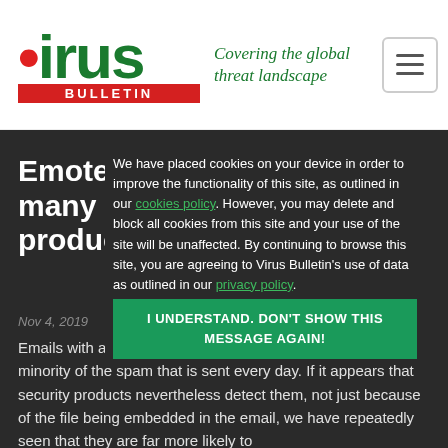[Figure (logo): Virus Bulletin logo with red dot, green 'virus' text, red BULLETIN banner, and green italic tagline 'Covering the global threat landscape']
Emotet continues to bypass many email security products
We have placed cookies on your device in order to improve the functionality of this site, as outlined in our cookies policy. However, you may delete and block all cookies from this site and your use of the site will be unaffected. By continuing to browse this site, you are agreeing to Virus Bulletin's use of data as outlined in our privacy policy.
I UNDERSTAND. DON'T SHOW THIS MESSAGE AGAIN!
Emails with a malicious link or attachment form only a small minority of the spam that is sent every day. If it appears that security products nevertheless detect them, not just because of the file being embedded in the email, we have repeatedly seen that they are far more likely to